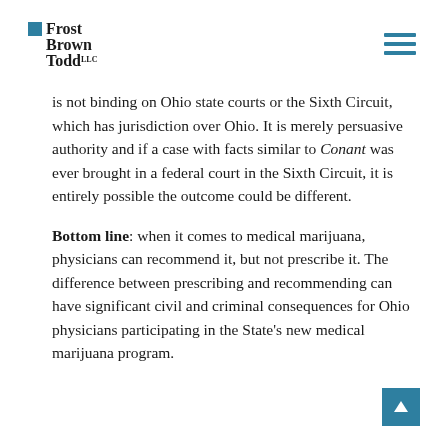Frost Brown Todd LLC Attorneys
is not binding on Ohio state courts or the Sixth Circuit, which has jurisdiction over Ohio. It is merely persuasive authority and if a case with facts similar to Conant was ever brought in a federal court in the Sixth Circuit, it is entirely possible the outcome could be different.
Bottom line: when it comes to medical marijuana, physicians can recommend it, but not prescribe it. The difference between prescribing and recommending can have significant civil and criminal consequences for Ohio physicians participating in the State's new medical marijuana program.